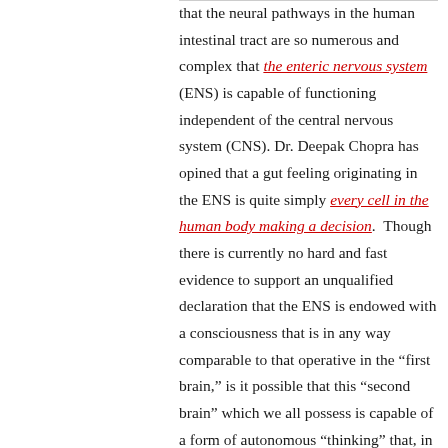that the neural pathways in the human intestinal tract are so numerous and complex that the enteric nervous system (ENS) is capable of functioning independent of the central nervous system (CNS). Dr. Deepak Chopra has opined that a gut feeling originating in the ENS is quite simply every cell in the human body making a decision. Though there is currently no hard and fast evidence to support an unqualified declaration that the ENS is endowed with a consciousness that is in any way comparable to that operative in the “first brain,” is it possible that this “second brain” which we all possess is capable of a form of autonomous “thinking” that, in tandem with the CNS and the Human brain, contributes to a fuller perception and sensate awareness of things seen and unseen?
There is yet another possibility.  Perhaps our thoughts are not our own.